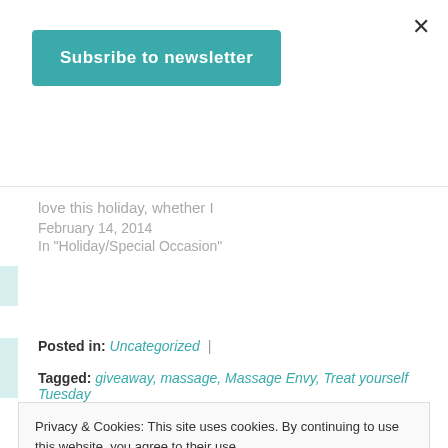×
Subsribe to newsletter
love this holiday, whether I
February 14, 2014
In "Holiday/Special Occasion"
Posted in: Uncategorized |
Tagged: giveaway, massage, Massage Envy, Treat yourself Tuesday
Privacy & Cookies: This site uses cookies. By continuing to use this website, you agree to their use. To find out more, including how to control cookies, see here: Cookie Policy
Close and accept